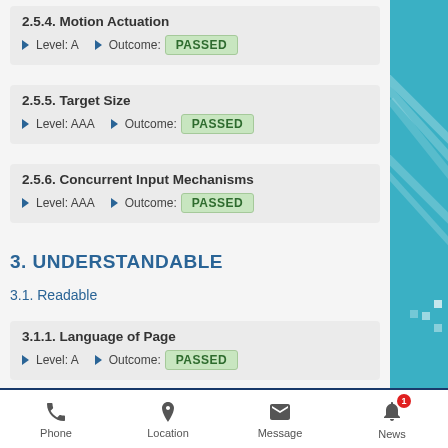2.5.4. Motion Actuation
Level: A   Outcome: PASSED
2.5.5. Target Size
Level: AAA   Outcome: PASSED
2.5.6. Concurrent Input Mechanisms
Level: AAA   Outcome: PASSED
3. UNDERSTANDABLE
3.1. Readable
3.1.1. Language of Page
Level: A   Outcome: PASSED
Phone   Location   Message   News